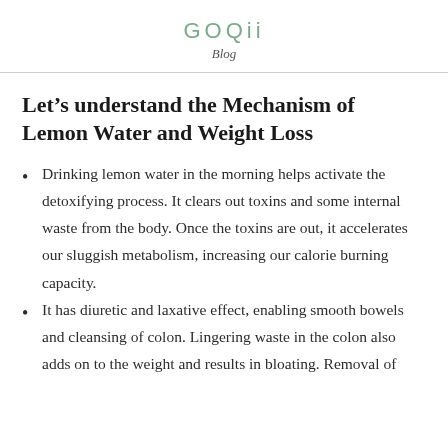GOQii
Blog
Let’s understand the Mechanism of Lemon Water and Weight Loss
Drinking lemon water in the morning helps activate the detoxifying process. It clears out toxins and some internal waste from the body. Once the toxins are out, it accelerates our sluggish metabolism, increasing our calorie burning capacity.
It has diuretic and laxative effect, enabling smooth bowels and cleansing of colon. Lingering waste in the colon also adds on to the weight and results in bloating. Removal of